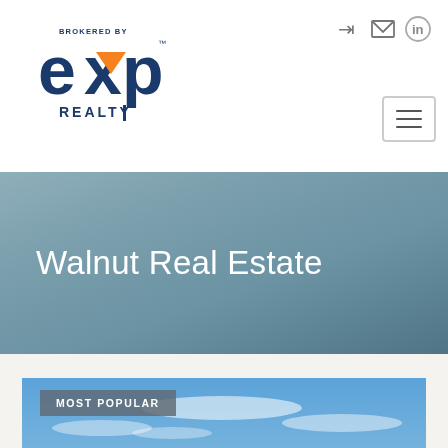[Figure (logo): eXp Realty logo — 'BROKERED BY' text above, large 'exp' with orange accent on x, 'REALTY' below, in dark navy blue]
[Figure (screenshot): Navigation icons: sign-in arrow, envelope/mail icon, LinkedIn circle icon, and hamburger menu button]
Walnut Real Estate
[Figure (photo): Outdoor photo showing trees against a blue sky with wispy clouds. MOST POPULAR badge overlaid top-left.]
MOST POPULAR